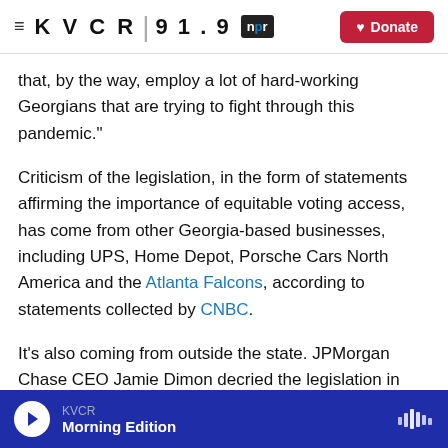KVCR 91.9 | npr | Donate
that, by the way, employ a lot of hard-working Georgians that are trying to fight through this pandemic."
Criticism of the legislation, in the form of statements affirming the importance of equitable voting access, has come from other Georgia-based businesses, including UPS, Home Depot, Porsche Cars North America and the Atlanta Falcons, according to statements collected by CNBC.
It's also coming from outside the state. JPMorgan Chase CEO Jamie Dimon decried the legislation in
KVCR | Morning Edition